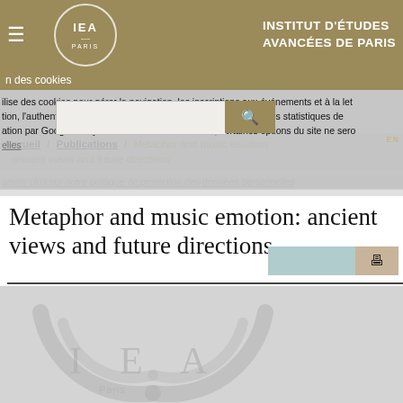INSTITUT D'ÉTUDES AVANCÉES DE PARIS
utilise des cookies pour gérer la navigation, les inscriptions aux événements et à la lettre, l'authentification des utilisateurs inscrits et l'établissement des statistiques de fréquentation par Google Analytics. En refusant les cookies, certaines options du site ne seront plus disponibles.
Accueil / Publications / Metaphor and music emotion: ancient views and future directions
savoir plus sur notre politique de protection des données personnelles
Metaphor and music emotion: ancient views and future directions
[Figure (logo): IEA Paris watermark logo in light gray]